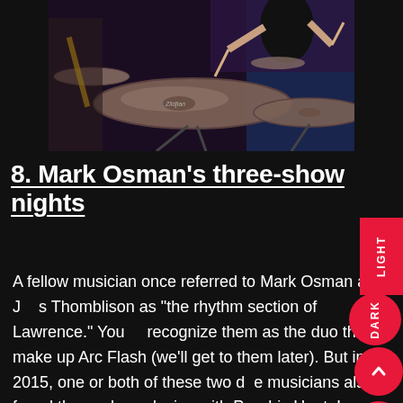[Figure (photo): A drummer playing cymbals on stage, viewed from the front. Large Zildjian cymbals are visible. A guitarist is partially visible in the background.]
8. Mark Osman's three-show nights
A fellow musician once referred to Mark Osman and James Thomblison as "the rhythm section of Lawrence." You may recognize them as the duo that make up Arc Flash (we'll get to them later). But in 2015, one or both of these two dynamic musicians also found themselves playing with Psychic Heat, Leggy, and Baby Birds Don't Drink Milk. Additionally, Osman has been a longstanding member of CS Luxembourg and ...